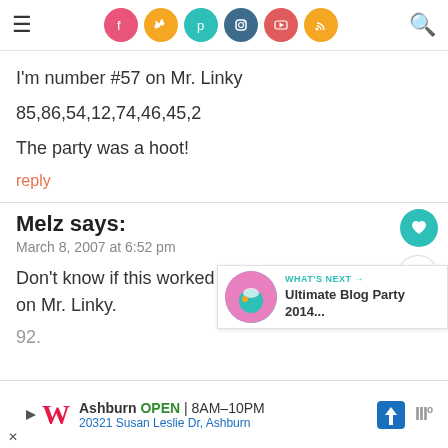Social media navigation header with menu icon, social icons (Facebook, Twitter, Pinterest, Instagram, YouTube, RSS), and search icon
I'm number #57 on Mr. Linky
85,86,54,12,74,46,45,2
The party was a hoot!
reply
Melz says:
March 8, 2007 at 6:52 pm
Don't know if this worked last time, my list. I'm #320 on Mr. Linky.
[Figure (other): What's Next promotional box showing Ultimate Blog Party 2014 with a colorful circular image]
[Figure (other): Walgreens advertisement: Ashburn OPEN 8AM-10PM, 20321 Susan Leslie Dr, Ashburn]